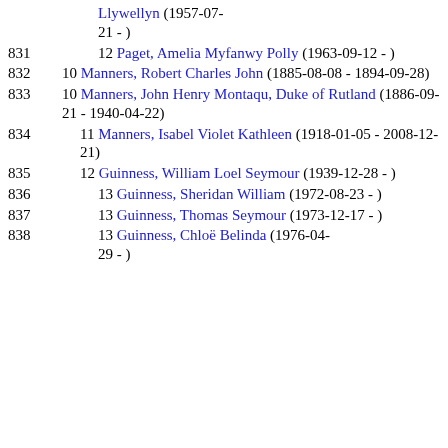Llywellyn (1957-07-21 - )
831  12 Paget, Amelia Myfanwy Polly (1963-09-12 - )
832  10 Manners, Robert Charles John (1885-08-08 - 1894-09-28)
833  10 Manners, John Henry Montaqu, Duke of Rutland (1886-09-21 - 1940-04-22)
834  11 Manners, Isabel Violet Kathleen (1918-01-05 - 2008-12-21)
835  12 Guinness, William Loel Seymour (1939-12-28 - )
836  13 Guinness, Sheridan William (1972-08-23 - )
837  13 Guinness, Thomas Seymour (1973-12-17 - )
838  13 Guinness, Chloë Belinda (1976-04-29 - )